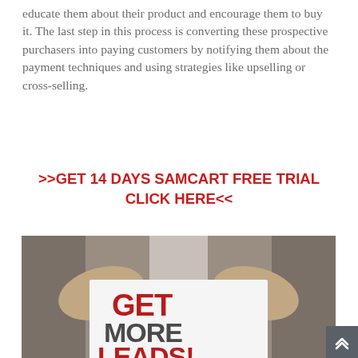educate them about their product and encourage them to buy it. The last step in this process is converting these prospective purchasers into paying customers by notifying them about the payment techniques and using strategies like upselling or cross-selling.
>>GET 14 DAYS SAMCART FREE TRIAL CLICK HERE<<
[Figure (photo): Person in a suit holding a white card with the text GET MORE LEADS! written in red and dark gray large bold letters]